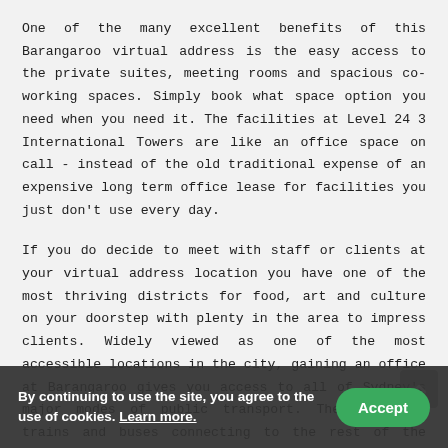One of the many excellent benefits of this Barangaroo virtual address is the easy access to the private suites, meeting rooms and spacious co-working spaces. Simply book what space option you need when you need it. The facilities at Level 24 3 International Towers are like an office space on call - instead of the old traditional expense of an expensive long term office lease for facilities you just don't use every day.
If you do decide to meet with staff or clients at your virtual address location you have one of the most thriving districts for food, art and culture on your doorstep with plenty in the area to impress clients. Widely viewed as one of the most accessible locations in the city, gaining an office at Barangaroo gives you access to all of Sydney's major modes of public transport. These include trains and buses connecting to the rest of the West, Qantas Club and ferries thanks to Circular Quay terminal. There's also a storage facility as well as showers and change
By continuing to use the site, you agree to the use of cookies. Learn more.